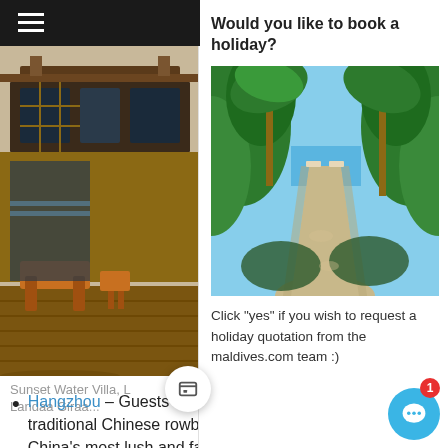Would you like to book a holiday?
[Figure (photo): Tropical villa with wooden deck, lounge chairs, and lush greenery - Sunset Water Villa, Landaa Giraavaru]
[Figure (photo): Tropical pathway lined with palm trees and lush green vegetation leading to a beach]
Sunset Water Villa, Landaa Giraa...
Click "yes" if you wish to request a holiday quotation from the maldives.com team :)
Hangzhou – Guests will journey back in time on a traditional Chinese rowboat ride through one of Eastern China's most lush and fabled lakes, taking in majestic mountains, ancient temples, traditional pagodas and graceful bridges while sipping premium